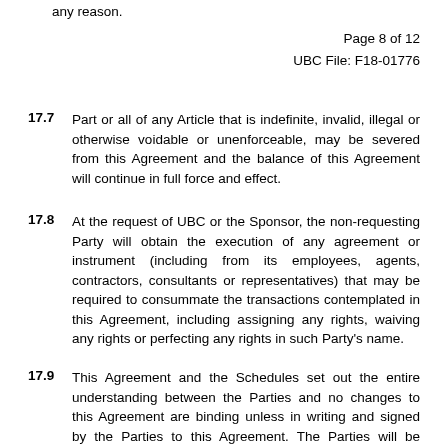any reason.
Page 8 of 12
UBC File: F18-01776
17.7   Part or all of any Article that is indefinite, invalid, illegal or otherwise voidable or unenforceable, may be severed from this Agreement and the balance of this Agreement will continue in full force and effect.
17.8   At the request of UBC or the Sponsor, the non-requesting Party will obtain the execution of any agreement or instrument (including from its employees, agents, contractors, consultants or representatives) that may be required to consummate the transactions contemplated in this Agreement, including assigning any rights, waiving any rights or perfecting any rights in such Party's name.
17.9   This Agreement and the Schedules set out the entire understanding between the Parties and no changes to this Agreement are binding unless in writing and signed by the Parties to this Agreement. The Parties will be bound by the Schedules, except to the extent that they may conflict with the terms and conditions contained in this Agreement, in which